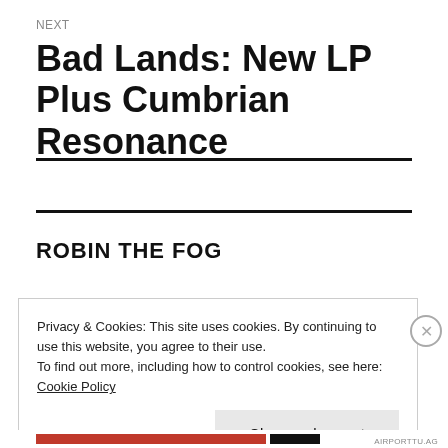NEXT
Bad Lands: New LP Plus Cumbrian Resonance
ROBIN THE FOG
Privacy & Cookies: This site uses cookies. By continuing to use this website, you agree to their use.
To find out more, including how to control cookies, see here: Cookie Policy
Close and accept